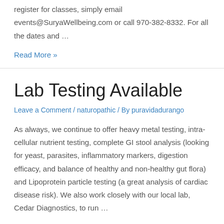register for classes, simply email events@SuryaWellbeing.com or call 970-382-8332. For all the dates and …
Read More »
Lab Testing Available
Leave a Comment / naturopathic / By puravidadurango
As always, we continue to offer heavy metal testing, intra-cellular nutrient testing, complete GI stool analysis (looking for yeast, parasites, inflammatory markers, digestion efficacy, and balance of healthy and non-healthy gut flora) and Lipoprotein particle testing (a great analysis of cardiac disease risk). We also work closely with our local lab, Cedar Diagnostics, to run …
Read More »